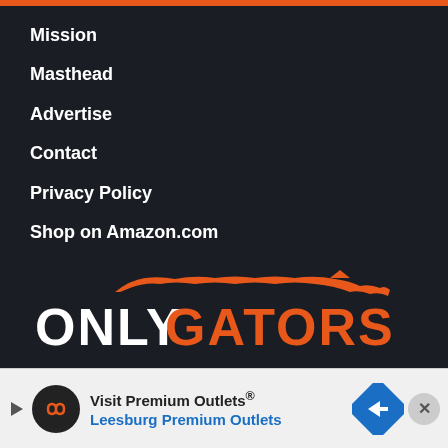Mission
Masthead
Advertise
Contact
Privacy Policy
Shop on Amazon.com
[Figure (logo): Only Gators logo with orange alligator silhouette above text. 'ONLY' in white bold letters, 'GATORS' in orange bold letters.]
Search here ...
Copyright © 2020-2023 Only Gators LLC. All rights reserved.
[Figure (screenshot): Advertisement banner for Visit Premium Outlets - Leesburg Premium Outlets. Shows circular icon with infinity symbol, navigation arrow icon, and close button.]